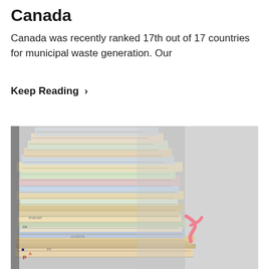Canada
Canada was recently ranked 17th out of 17 countries for municipal waste generation. Our
Keep Reading >
[Figure (photo): A tall stack of bundled newspapers and magazines tied with string, photographed against a light grey background. A pink ribbon is visible on the right side of the stack.]